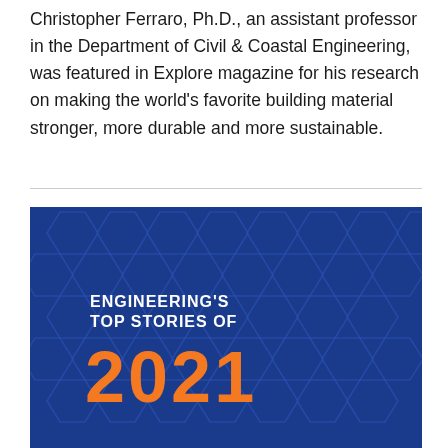Christopher Ferraro, Ph.D., an assistant professor in the Department of Civil & Coastal Engineering, was featured in Explore magazine for his research on making the world's favorite building material stronger, more durable and more sustainable.
[Figure (illustration): Blue background with hexagonal geometric pattern. Overlaid text reads 'ENGINEERING'S TOP STORIES OF 2021' with '2021' in large orange bold font and the rest in white bold font.]